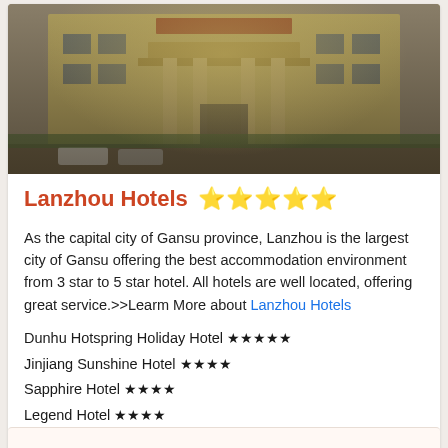[Figure (photo): Exterior photo of a large golden hotel building with ornate columns and a canopy entrance, cars parked in front, green landscaping visible.]
Lanzhou Hotels ★★★★★
As the capital city of Gansu province, Lanzhou is the largest city of Gansu offering the best accommodation environment from 3 star to 5 star hotel. All hotels are well located, offering great service.>>Learm More about Lanzhou Hotels
Dunhu Hotspring Holiday Hotel ★★★★★
Jinjiang Sunshine Hotel ★★★★
Sapphire Hotel ★★★★
Legend Hotel ★★★★
New Victory Business Hotel ★★★